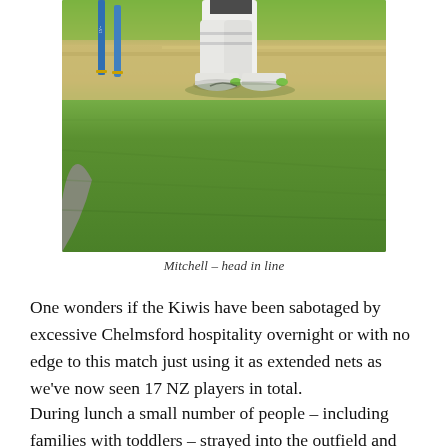[Figure (photo): Cricket match photo showing a batsman's feet and legs near the stumps on a cricket pitch. Blue stumps visible on the left, green outfield in the background, sandy crease area visible.]
Mitchell – head in line
One wonders if the Kiwis have been sabotaged by excessive Chelmsford hospitality overnight or with no edge to this match just using it as extended nets as we've now seen 17 NZ players in total.
During lunch a small number of people – including families with toddlers – strayed into the outfield and